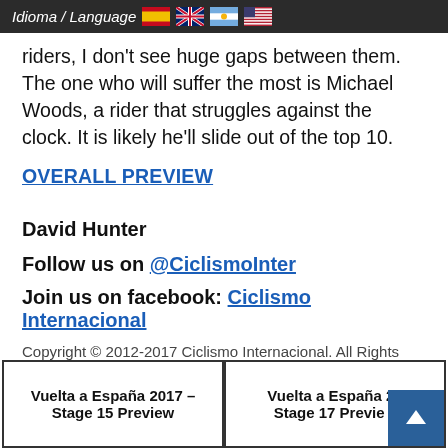Idioma / Language 🇪🇸 🇬🇧 🇦🇷 🇺🇸
riders, I don't see huge gaps between them. The one who will suffer the most is Michael Woods, a rider that struggles against the clock.  It is likely he'll slide out of the top 10.
OVERALL PREVIEW
David Hunter
Follow us on @CiclismoInter
Join us on facebook: Ciclismo Internacional
Copyright © 2012-2017 Ciclismo Internacional. All Rights Reserved
Vuelta a España 2017 – Stage 15 Preview
Vuelta a España 2017 – Stage 17 Preview